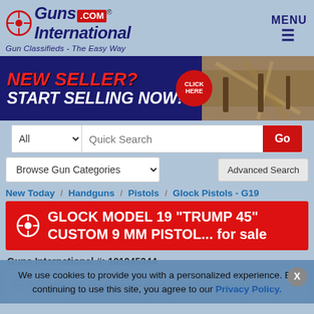[Figure (logo): Guns International .com logo with crosshair icon and tagline 'Gun Classifieds - The Easy Way']
[Figure (infographic): Banner ad: NEW SELLER? START SELLING NOW! CLICK HERE - with photo of guns in background]
All | Quick Search | Go
Browse Gun Categories | Advanced Search
New Today / Handguns / Pistols / Glock Pistols - G19
GLOCK MODEL 19 "TRUMP 45" CUSTOM 9 MM PISTOL... for sale
Guns International #: 101945344
[Figure (photo): Placeholder for GLOCK MODEL 19 TRUMP 45 CUSTOM 9 MM PISTOL photo]
We use cookies to provide you with a personalized experience. By continuing to use this site, you agree to our Privacy Policy.